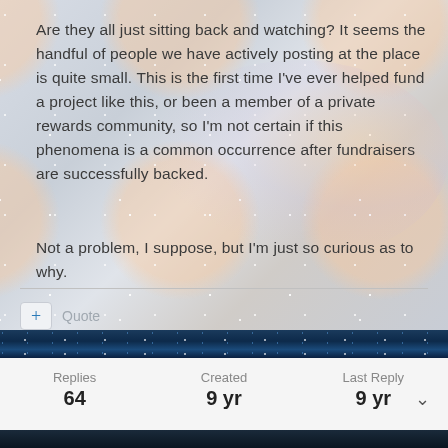Are they all just sitting back and watching? It seems the handful of people we have actively posting at the place is quite small. This is the first time I've ever helped fund a project like this, or been a member of a private rewards community, so I'm not certain if this phenomena is a common occurrence after fundraisers are successfully backed.
Not a problem, I suppose, but I'm just so curious as to why.
+ Quote
Replies 64  Created 9 yr  Last Reply 9 yr